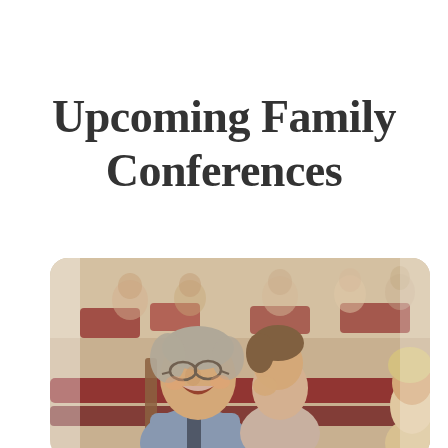Upcoming Family Conferences
[Figure (photo): People seated in church pews, smiling and laughing. A middle-aged man with glasses in the foreground is laughing, with a woman beside him. Red upholstered pews visible. Congregation members visible in the background.]